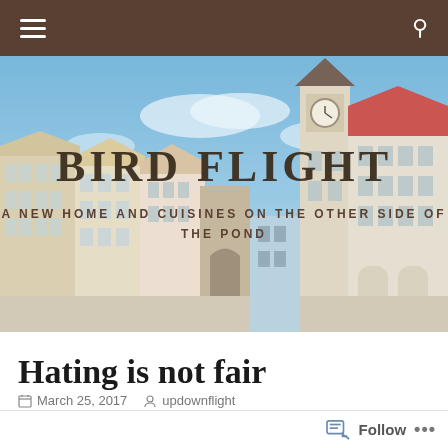Navigation bar with hamburger menu and search icon
[Figure (photo): Hero banner showing a European town square with colorful historic buildings, a clock tower, and blue sky. Overlaid text reads 'BIRD FLIGHT' and 'A NEW HOME AND CUISINES ON THE OTHER SIDE OF THE POND']
Hating is not fair
March 25, 2017   updownflight
Follow   ...